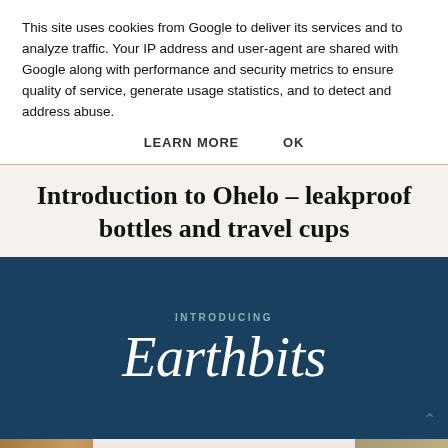This site uses cookies from Google to deliver its services and to analyze traffic. Your IP address and user-agent are shared with Google along with performance and security metrics to ensure quality of service, generate usage statistics, and to detect and address abuse.
LEARN MORE   OK
Introduction to Ohelo - leakproof bottles and travel cups
[Figure (illustration): Dark teal/navy background banner image with text 'INTRODUCING' in small uppercase spaced letters and 'Earthbits' in large white italic script font below it.]
[Figure (photo): Three small thumbnail images in a row at the bottom of the page, partially visible.]